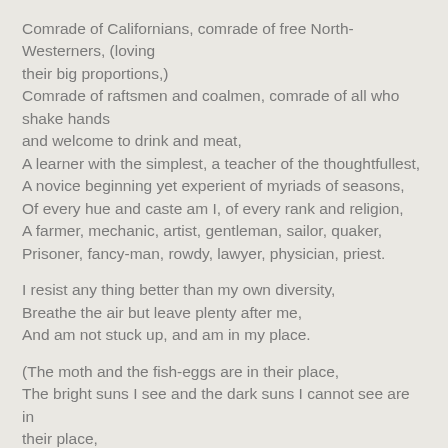Comrade of Californians, comrade of free North-Westerners, (loving
their big proportions,)
Comrade of raftsmen and coalmen, comrade of all who shake hands
and welcome to drink and meat,
A learner with the simplest, a teacher of the thoughtfullest,
A novice beginning yet experient of myriads of seasons,
Of every hue and caste am I, of every rank and religion,
A farmer, mechanic, artist, gentleman, sailor, quaker,
Prisoner, fancy-man, rowdy, lawyer, physician, priest.
I resist any thing better than my own diversity,
Breathe the air but leave plenty after me,
And am not stuck up, and am in my place.
(The moth and the fish-eggs are in their place,
The bright suns I see and the dark suns I cannot see are in their place,
The palpable is in its place and the impalpable is in its place.)